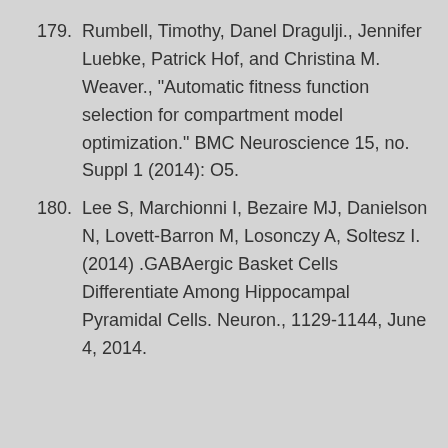179. Rumbell, Timothy, Danel Dragulji., Jennifer Luebke, Patrick Hof, and Christina M. Weaver., "Automatic fitness function selection for compartment model optimization." BMC Neuroscience 15, no. Suppl 1 (2014): O5.
180. Lee S, Marchionni I, Bezaire MJ, Danielson N, Lovett-Barron M, Losonczy A, Soltesz I. (2014) .GABAergic Basket Cells Differentiate Among Hippocampal Pyramidal Cells. Neuron., 1129-1144, June 4, 2014.